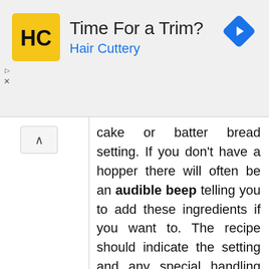[Figure (other): Advertisement banner for Hair Cuttery with logo, title 'Time For a Trim?', subtitle 'Hair Cuttery', and navigation arrow icon]
cake or batter bread setting. If you don't have a hopper there will often be an audible beep telling you to add these ingredients if you want to. The recipe should indicate the setting and any special handling related to fruits, nuts and other added ingredients.

Most cakes that come out of a bread machine will have the tall, vertical shape that's common with most bread pans. You can always cut it in half; use a recipe for a 1 pound loaf which will be shorter, or slice it into layers and only build the cake as tall as you